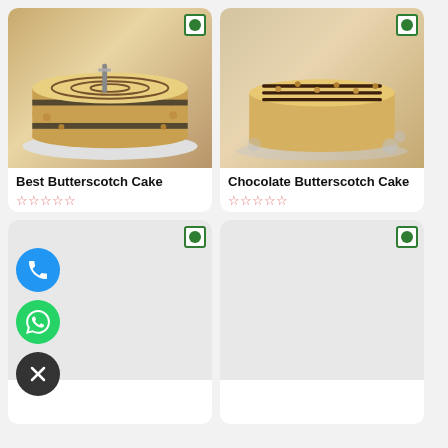[Figure (photo): Best Butterscotch Cake - a layered cake with chocolate drizzle swirls on top, with nuts on sides, on a white plate]
Best Butterscotch Cake
★★★★★ (empty stars rating)
₹549.00
[Figure (photo): Chocolate Butterscotch Cake - round cake with chocolate drizzle lines and crushed nuts on sides, on a glass plate]
Chocolate Butterscotch Cake
★★★★★ (empty stars rating)
₹549.00
[Figure (other): Empty card placeholder with green veg badge, with phone call button (blue), WhatsApp button (green), and close button (dark) floating on left]
[Figure (other): Empty card placeholder with green veg badge]